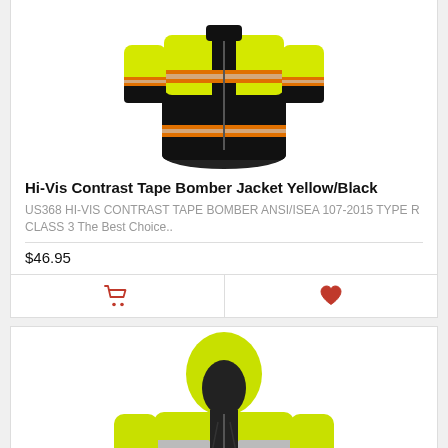[Figure (photo): Hi-Vis Contrast Tape Bomber Jacket Yellow/Black product photo showing yellow and black bomber jacket with orange reflective tape]
Hi-Vis Contrast Tape Bomber Jacket Yellow/Black
US368 HI-VIS CONTRAST TAPE BOMBER ANSI/ISEA 107-2015 TYPE R CLASS 3 The Best Choice..
$46.95
[Figure (photo): Hi-Vis safety jacket in yellow/black with hood and reflective silver tape stripes, second product listing]